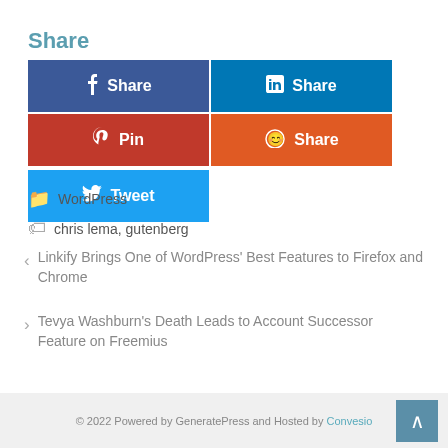Share
[Figure (infographic): Social sharing buttons: Facebook Share (blue), LinkedIn Share (dark blue), Pinterest Pin (red), Reddit Share (orange), Twitter Tweet (light blue)]
WordPress
chris lema, gutenberg
< Linkify Brings One of WordPress' Best Features to Firefox and Chrome
> Tevya Washburn's Death Leads to Account Successor Feature on Freemius
© 2022 Powered by GeneratePress and Hosted by Convesio